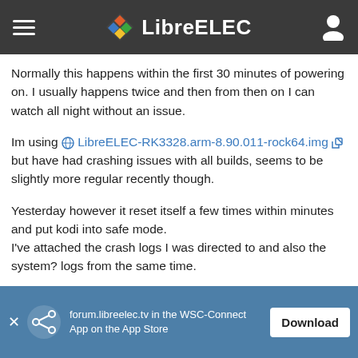LibreELEC
Normally this happens within the first 30 minutes of powering on. I usually happens twice and then from then on I can watch all night without an issue.
Im using LibreELEC-RK3328.arm-8.90.011-rock64.img but have had crashing issues with all builds, seems to be slightly more regular recently though.
Yesterday however it reset itself a few times within minutes and put kodi into safe mode.
I've attached the crash logs I was directed to and also the system? logs from the same time.
I have seen posts talking about the RK 4.4 kernel being outdated and to be replaced.
forum.libreelec.tv in the WSC-Connect App on the App Store  Download